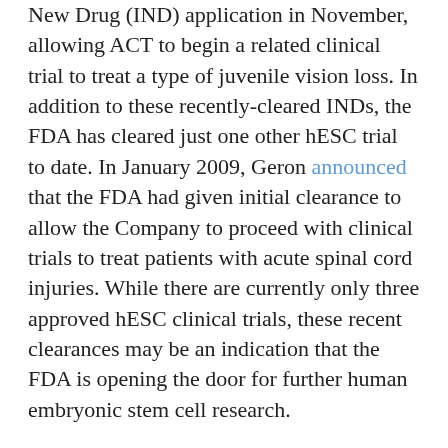New Drug (IND) application in November, allowing ACT to begin a related clinical trial to treat a type of juvenile vision loss. In addition to these recently-cleared INDs, the FDA has cleared just one other hESC trial to date. In January 2009, Geron announced that the FDA had given initial clearance to allow the Company to proceed with clinical trials to treat patients with acute spinal cord injuries. While there are currently only three approved hESC clinical trials, these recent clearances may be an indication that the FDA is opening the door for further human embryonic stem cell research.
For more information on the FDA regulatory framework regarding stem cells or the